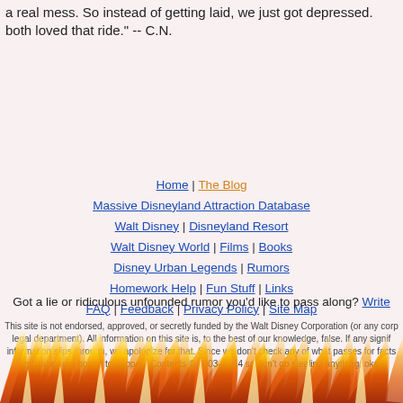a real mess. So instead of getting laid, we just got depressed. both loved that ride." -- C.N.
Home | The Blog | Massive Disneyland Attraction Database | Walt Disney | Disneyland Resort | Walt Disney World | Films | Books | Disney Urban Legends | Rumors | Homework Help | Fun Stuff | Links | FAQ | Feedback | Privacy Policy | Site Map
Got a lie or ridiculous unfounded rumor you'd like to pass along? Write
This site is not endorsed, approved, or secretly funded by the Walt Disney Corporation (or any corp legal department). All information on this site is, to the best of our knowledge, false. If any signif information slips through, we apologize for that. Since we don't check any of what passes for facts mistakes are bound to happen. Contents © 2003–2014 so don't go stealing anything, oka
[Figure (illustration): Flames image at the bottom of the page]